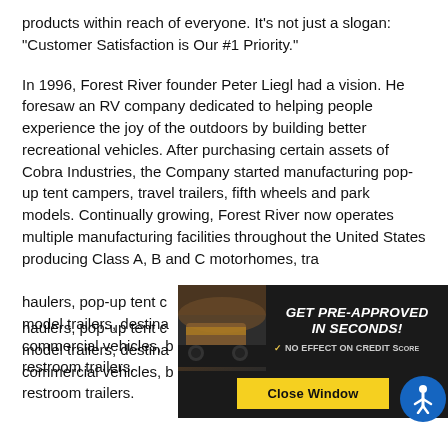products within reach of everyone. It's not just a slogan: "Customer Satisfaction is Our #1 Priority."
In 1996, Forest River founder Peter Liegl had a vision. He foresaw an RV company dedicated to helping people experience the joy of the outdoors by building better recreational vehicles. After purchasing certain assets of Cobra Industries, the Company started manufacturing pop-up tent campers, travel trailers, fifth wheels and park models. Continually growing, Forest River now operates multiple manufacturing facilities throughout the United States producing Class A, B and C motorhomes, travel trailers, fifth wheels, toy haulers, pop-up tent campers, park model trailers, destination trailers, commercial vehicles, buses, and restroom trailers.
[Figure (screenshot): Advertisement overlay: 'GET PRE-APPROVED IN SECONDS! NO EFFECT ON CREDIT SCORE' with a yellow 'Close Window' button and an image of an RV. An accessibility icon (person in circle) appears in the bottom right corner.]